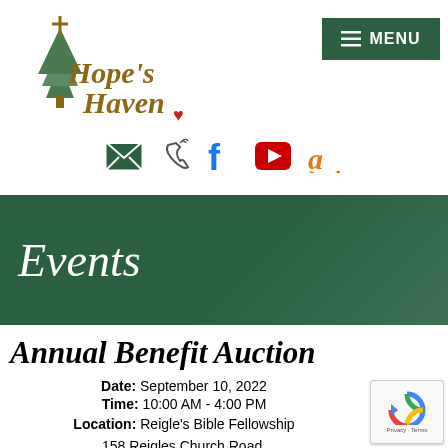[Figure (logo): Hope's Haven logo with pine tree and cursive text]
[Figure (infographic): Navigation menu button (green rectangle with MENU text and hamburger icon)]
[Figure (infographic): Social media icons row: email, phone, Facebook, YouTube, Amazon]
Events
Annual Benefit Auction
Date: September 10, 2022
Time: 10:00 AM - 4:00 PM
Location: Reigle's Bible Fellowship 158 Reigles Church Road, Millersburg, PA 17061